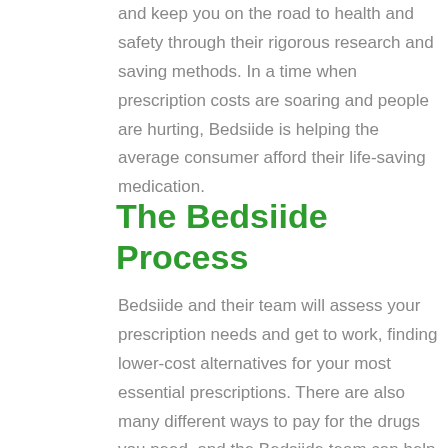and keep you on the road to health and safety through their rigorous research and saving methods. In a time when prescription costs are soaring and people are hurting, Bedsiide is helping the average consumer afford their life-saving medication.
The Bedsiide Process
Bedsiide and their team will assess your prescription needs and get to work, finding lower-cost alternatives for your most essential prescriptions. There are also many different ways to pay for the drugs you need, and the Bedsiide team can help you pay for your drugs through the different and more affordable methods